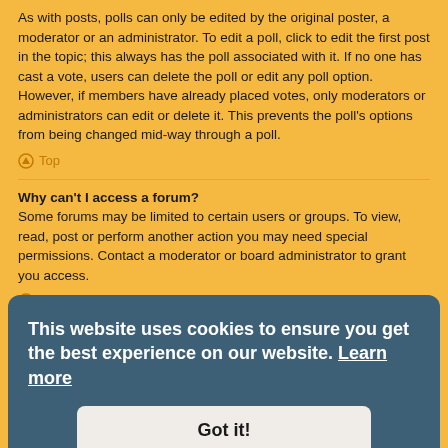As with posts, polls can only be edited by the original poster, a moderator or an administrator. To edit a poll, click to edit the first post in the topic; this always has the poll associated with it. If no one has cast a vote, users can delete the poll or edit any poll option. However, if members have already placed votes, only moderators or administrators can edit or delete it. This prevents the poll's options from being changed mid-way through a poll.
Top
Why can't I access a forum?
Some forums may be limited to certain users or groups. To view, read, post or perform another action you may need special permissions. Contact a moderator or board administrator to grant you access.
Top
Why can't I add attachments?
Attachment permissions are granted on a per forum, per group, or per user basis. The board administrator may not have allowed attachments to be added for the specific forum you are posting in, or perhaps only certain groups can post attachments. Contact the board administrator if you are unsure about why you are unable to add attachments.
Top
Why did I receive a warning?
[Figure (screenshot): Cookie consent overlay banner with dark blue-grey background. Text reads: 'This website uses cookies to ensure you get the best experience on our website. Learn more' with a 'Got it!' button below.]